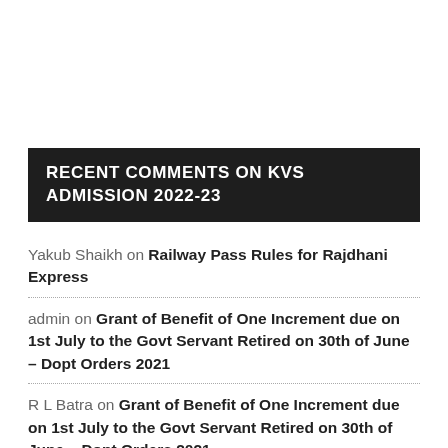RECENT COMMENTS ON KVS ADMISSION 2022-23
Yakub Shaikh on Railway Pass Rules for Rajdhani Express
admin on Grant of Benefit of One Increment due on 1st July to the Govt Servant Retired on 30th of June – Dopt Orders 2021
R L Batra on Grant of Benefit of One Increment due on 1st July to the Govt Servant Retired on 30th of June – Dopt Orders 2021